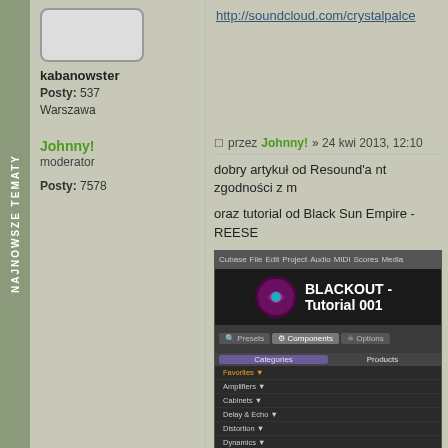NAJNOWSZE TEMATY
[Figure (screenshot): Avatar image placeholder with rounded border]
kabanowster
Posty: 537
Warszawa
http://soundcloud.com/crystalpalce
Johnny!
moderator
Posty: 7578
przez Johnny! » 24 kwi 2013, 12:10
dobry artykuł od Resound'a nt zgodności z m
oraz tutorial od Black Sun Empire - REESE
[Figure (screenshot): Screenshot of Cubase DAW showing BLACKOUT - Tutorial 001 with plugin browser open showing categories: Favorites, Amplifiers, Cabinets, Delay & Echo, Distortion, Dynamics, EQ, Filters, Modifier, Modulation. Bottom shows Electric Lady and Ensemble presets.]